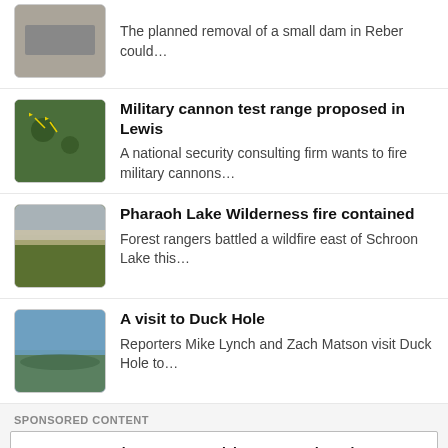The planned removal of a small dam in Reber could…
Military cannon test range proposed in Lewis — A national security consulting firm wants to fire military cannons…
Pharaoh Lake Wilderness fire contained — Forest rangers battled a wildfire east of Schroon Lake this…
A visit to Duck Hole — Reporters Mike Lynch and Zach Matson visit Duck Hole to…
SPONSORED CONTENT
Rural Communities Need to be Recognized
[Figure (photo): Waterfall in a lush green forest with a white loon-in-circle logo overlay]